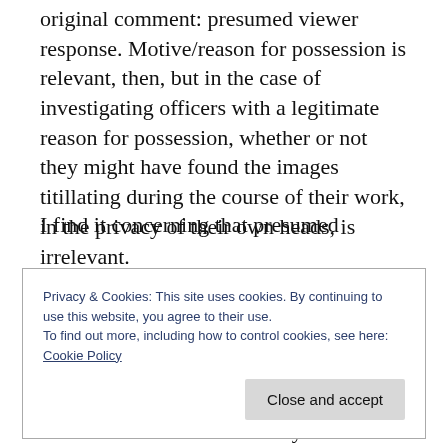original comment: presumed viewer response. Motive/reason for possession is relevant, then, but in the case of investigating officers with a legitimate reason for possession, whether or not they might have found the images titillating during the course of their work, in the privacy of their own heads, is irrelevant.
I find it concerning that presumed
Privacy & Cookies: This site uses cookies. By continuing to use this website, you agree to their use.
To find out more, including how to control cookies, see here:
Cookie Policy
in the case of a mens rea-only offence